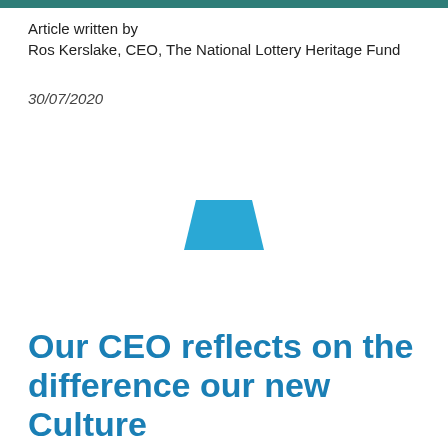Article written by Ros Kerslake, CEO, The National Lottery Heritage Fund
30/07/2020
[Figure (illustration): A blue trapezoid shape centered on the page, representing an image placeholder or decorative graphic element.]
Our CEO reflects on the difference our new Culture